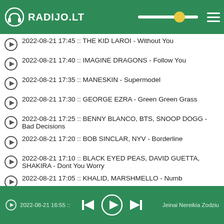RADIJO.LT
2022-08-21 17:45 :: THE KID LAROI - Without You
2022-08-21 17:40 :: IMAGINE DRAGONS - Follow You
2022-08-21 17:35 :: MANESKIN - Supermodel
2022-08-21 17:30 :: GEORGE EZRA - Green Green Grass
2022-08-21 17:25 :: BENNY BLANCO, BTS, SNOOP DOGG - Bad Decisions
2022-08-21 17:20 :: BOB SINCLAR, NYV - Borderline
2022-08-21 17:10 :: BLACK EYED PEAS, DAVID GUETTA, SHAKIRA - Dont You Worry
2022-08-21 17:05 :: KHALID, MARSHMELLO - Numb
2022-08-21 17:00 :: KELLY CLARKSON - Stronger (What Doesn't Kill You)
2022-08-21 16:55 :: EDRAY Muzik - Jeigu Nereikia Zodziu